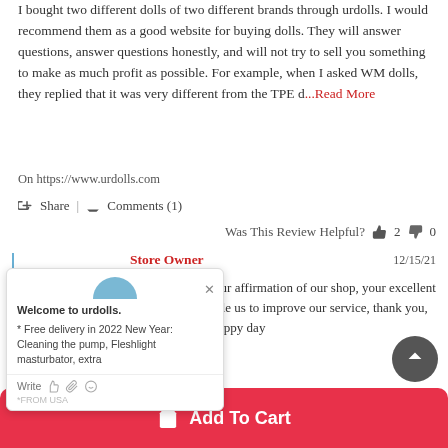I bought two different dolls of two different brands through urdolls. I would recommend them as a good website for buying dolls. They will answer questions, answer questions honestly, and will not try to sell you something to make as much profit as possible. For example, when I asked WM dolls, they replied that it was very different from the TPE d...Read More
On https://www.urdolls.com
Share | Comments (1)
Was This Review Helpful? 2 0
Store Owner 12/15/21
Thank you for your affirmation of our shop, your excellent reviews will enable us to improve our service, thank you, and wish you a happy day
[Figure (screenshot): Chat popup with welcome message: 'Welcome to urdolls. * Free delivery in 2022 New Year: Cleaning the pump, Fleshlight masturbator, extra' with Write input area and icons]
Add To Cart